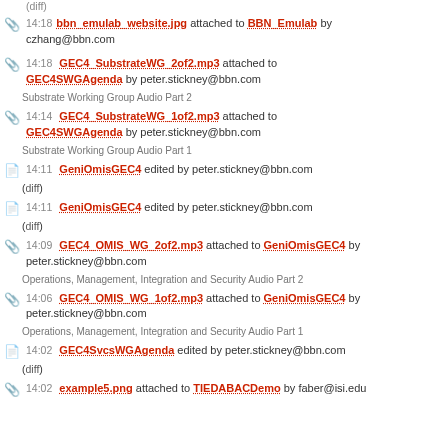(diff)
14:18 bbn_emulab_website.jpg attached to BBN_Emulab by czhang@bbn.com
14:18 GEC4_SubstrateWG_2of2.mp3 attached to GEC4SWGAgenda by peter.stickney@bbn.com
Substrate Working Group Audio Part 2
14:14 GEC4_SubstrateWG_1of2.mp3 attached to GEC4SWGAgenda by peter.stickney@bbn.com
Substrate Working Group Audio Part 1
14:11 GeniOmisGEC4 edited by peter.stickney@bbn.com
(diff)
14:11 GeniOmisGEC4 edited by peter.stickney@bbn.com
(diff)
14:09 GEC4_OMIS_WG_2of2.mp3 attached to GeniOmisGEC4 by peter.stickney@bbn.com
Operations, Management, Integration and Security Audio Part 2
14:06 GEC4_OMIS_WG_1of2.mp3 attached to GeniOmisGEC4 by peter.stickney@bbn.com
Operations, Management, Integration and Security Audio Part 1
14:02 GEC4SvcsWGAgenda edited by peter.stickney@bbn.com
(diff)
14:02 example5.png attached to TIEDABACDemo by faber@isi.edu